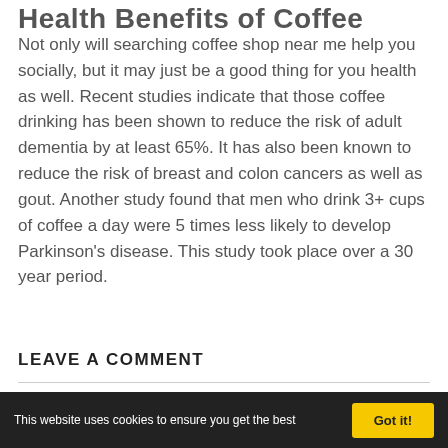Health Benefits of Coffee
Not only will searching coffee shop near me help you socially, but it may just be a good thing for you health as well. Recent studies indicate that those coffee drinking has been shown to reduce the risk of adult dementia by at least 65%. It has also been known to reduce the risk of breast and colon cancers as well as gout. Another study found that men who drink 3+ cups of coffee a day were 5 times less likely to develop Parkinson's disease. This study took place over a 30 year period.
LEAVE A COMMENT
This website uses cookies to ensure you get the best